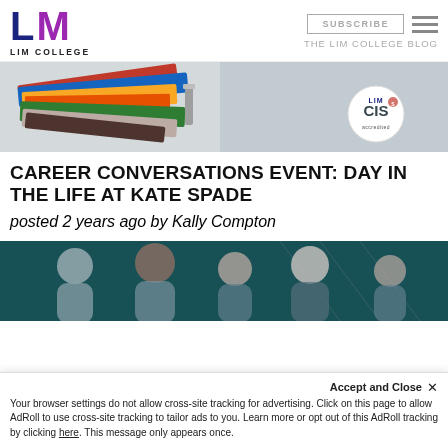[Figure (logo): LIM College logo with stylized L and M letters in dark blue and purple, with 'LIM COLLEGE' text below]
[Figure (photo): Header photo of colorful stacked books on a light gray background with a CIS accreditation badge in the lower right]
CAREER CONVERSATIONS EVENT: DAY IN THE LIFE AT KATE SPADE
posted 2 years ago by Kally Compton
[Figure (photo): Photo of a group of smiling young women with a teal/dark overlay]
Accept and Close ✕
Your browser settings do not allow cross-site tracking for advertising. Click on this page to allow AdRoll to use cross-site tracking to tailor ads to you. Learn more or opt out of this AdRoll tracking by clicking here. This message only appears once.